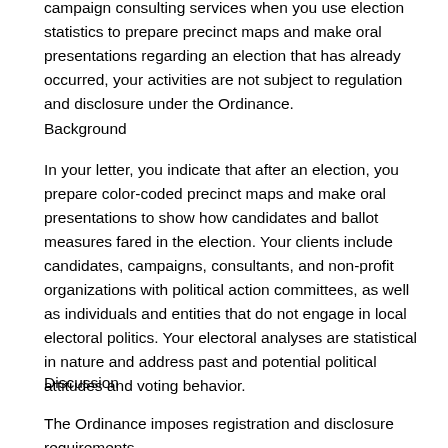campaign consulting services when you use election statistics to prepare precinct maps and make oral presentations regarding an election that has already occurred, your activities are not subject to regulation and disclosure under the Ordinance.
Background
In your letter, you indicate that after an election, you prepare color-coded precinct maps and make oral presentations to show how candidates and ballot measures fared in the election. Your clients include candidates, campaigns, consultants, and non-profit organizations with political action committees, as well as individuals and entities that do not engage in local electoral politics. Your electoral analyses are statistical in nature and address past and potential political attitudes and voting behavior.
Discussion
The Ordinance imposes registration and disclosure requirements